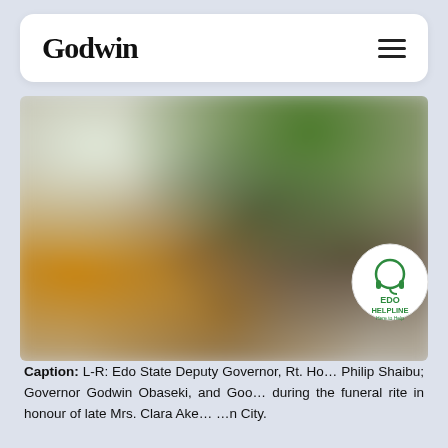Godwin
[Figure (photo): Blurred group photo of people at a funeral rite, showing figures in colourful attire against a green background.]
Caption: L-R: Edo State Deputy Governor, Rt. Ho… Philip Shaibu; Governor Godwin Obaseki, and Goo… during the funeral rite in honour of late Mrs. Clara Ake… …n City.
[Figure (logo): EDO HELPLINE - Here to help circular badge logo with green text and icon.]